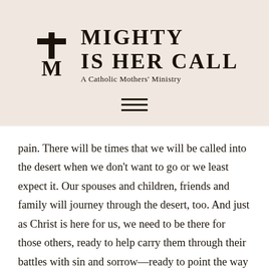[Figure (logo): Mighty Is Her Call logo — a cross with an M monogram on the left, and text 'MIGHTY IS HER CALL' in bold capitals with 'A Catholic Mothers' Ministry' in smaller text below, on a beige/cream background]
[Figure (other): Hamburger menu icon — three horizontal lines centered on the beige/cream background]
pain. There will be times that we will be called into the desert when we don't want to go or we least expect it. Our spouses and children, friends and family will journey through the desert, too. And just as Christ is here for us, we need to be there for those others, ready to help carry them through their battles with sin and sorrow—ready to point the way toward Jesus and his cross. As Cardinal John